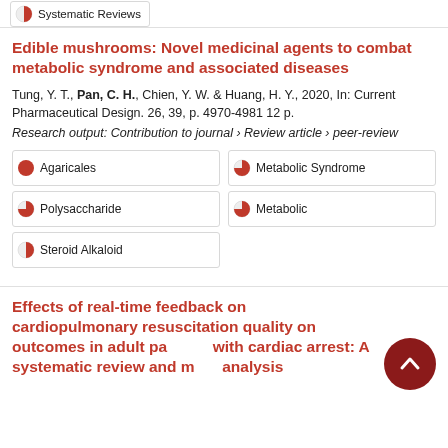[Figure (other): Systematic Reviews badge with partial pie icon]
Edible mushrooms: Novel medicinal agents to combat metabolic syndrome and associated diseases
Tung, Y. T., Pan, C. H., Chien, Y. W. & Huang, H. Y., 2020, In: Current Pharmaceutical Design. 26, 39, p. 4970-4981 12 p.
Research output: Contribution to journal › Review article › peer-review
Agaricales
Metabolic Syndrome
Polysaccharide
Metabolic
Steroid Alkaloid
Effects of real-time feedback on cardiopulmonary resuscitation quality on outcomes in adult patients with cardiac arrest: A systematic review and meta-analysis